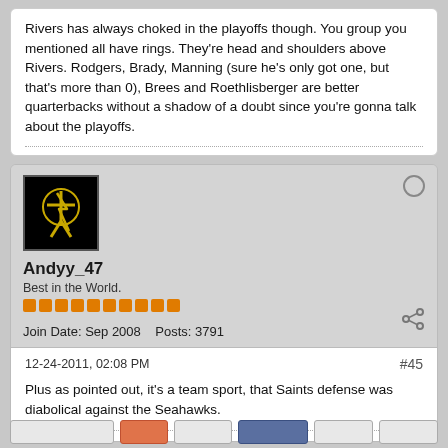Rivers has always choked in the playoffs though. You group you mentioned all have rings. They're head and shoulders above Rivers. Rodgers, Brady, Manning (sure he's only got one, but that's more than 0), Brees and Roethlisberger are better quarterbacks without a shadow of a doubt since you're gonna talk about the playoffs.
[Figure (photo): User avatar: black background with yellow lightning bolt figure]
Andyy_47
Best in the World.
Join Date: Sep 2008    Posts: 3791
12-24-2011, 02:08 PM    #45
Plus as pointed out, it's a team sport, that Saints defense was diabolical against the Seahawks.